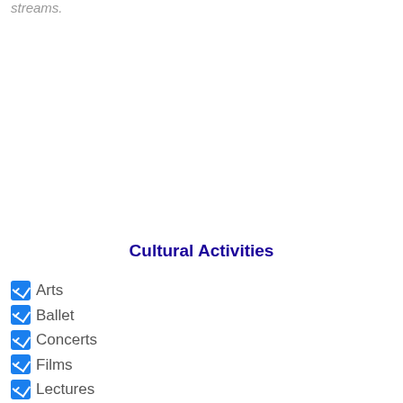streams.
Cultural Activities
Arts
Ballet
Concerts
Films
Lectures
Library